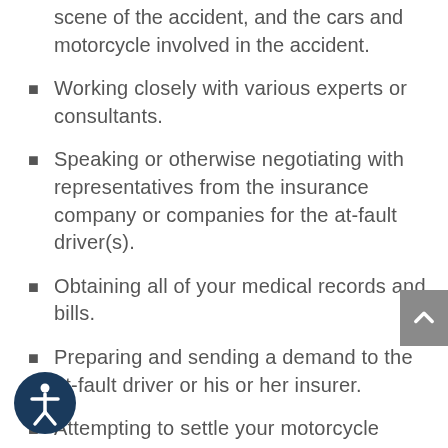scene of the accident, and the cars and motorcycle involved in the accident.
Working closely with various experts or consultants.
Speaking or otherwise negotiating with representatives from the insurance company or companies for the at-fault driver(s).
Obtaining all of your medical records and bills.
Preparing and sending a demand to the at-fault driver or his or her insurer.
Attempting to settle your motorcycle accident claim on favorable terms.
If necessary, filing a lawsuit against the at-fault driver(s) and your own insurance